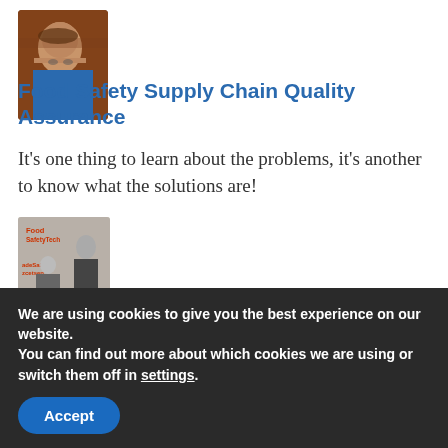[Figure (photo): Profile photo of a man with glasses, smiling, wearing a blue shirt, against a reddish foliage background]
Food Safety Supply Chain Quality Assurance
It's one thing to learn about the problems, it's another to know what the solutions are!
[Figure (photo): Interview scene at a Food Safety Tech event, showing two people in conversation in front of a step-and-repeat banner with Food Safety Tech logos]
We are using cookies to give you the best experience on our website.
You can find out more about which cookies we are using or switch them off in settings.
Accept